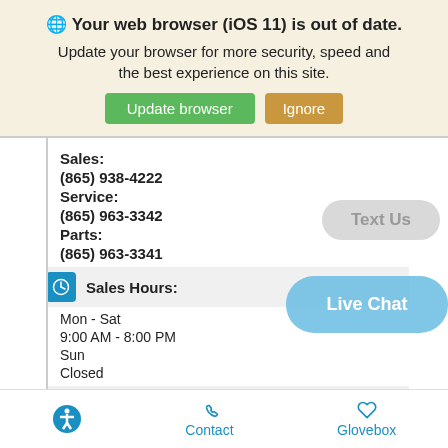[Figure (screenshot): Browser update notification banner with globe icon, bold text 'Your web browser (iOS 11) is out of date.', subtitle, and two buttons: green 'Update browser' and tan 'Ignore']
Sales:
(865) 938-4222
Service:
(865) 963-3342
Parts:
(865) 963-3341
Sales Hours:
Mon - Sat
9:00 AM - 8:00 PM
Sun
Closed
Service Hours:
Mon - Fri
[Figure (screenshot): Floating 'Text Us' rounded button (greyed out), and a blue 'Live Chat' rounded button]
Accessibility icon | Contact | Glovebox